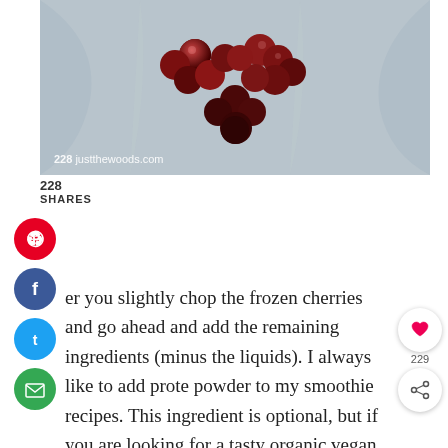[Figure (photo): Overhead photo of frozen dark cherries arranged in a heart shape inside a blender bag or plastic, on a reflective surface. Watermark reads '228 justthewoods.com'.]
228
SHARES
er you slightly chop the frozen cherries and go ahead and add the remaining ingredients (minus the liquids). I always like to add prote powder to my smoothie recipes. This ingredient is optional, but if you are looking for a tasty organic vegan protein and vitamin plant-based